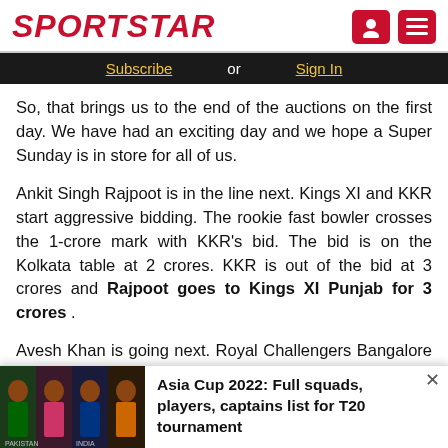SPORTSTAR
Subscribe or Sign In
So, that brings us to the end of the auctions on the first day. We have had an exciting day and we hope a Super Sunday is in store for all of us.
Ankit Singh Rajpoot is in the line next. Kings XI and KKR start aggressive bidding. The rookie fast bowler crosses the 1-crore mark with KKR's bid. The bid is on the Kolkata table at 2 crores. KKR is out of the bid at 3 crores and Rajpoot goes to Kings XI Punjab for 3 crores .
Avesh Khan is going next. Royal Challengers Bangalore has the Right to Match card option available for Khan. After Delhi bids for 50 lakhs. Kolkata enters the scene with a 55
Asia Cup 2022: Full squads, players, captains list for T20 tournament